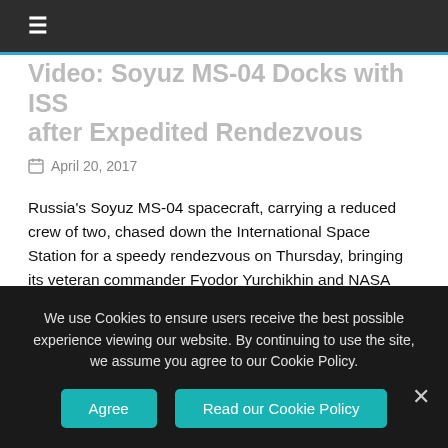☰
Video: Soyuz MS-04 Docks with ISS after Expedited Rendezvous
April 20, 2017
Russia's Soyuz MS-04 spacecraft, carrying a reduced crew of two, chased down the International Space Station for a speedy rendezvous on Thursday, bringing its veteran commander Fyodor Yurchikhin and NASA Astronaut Jack Fischer to their orbital destination just six hours after blasting off from Kazakhstan.
Read more
We use Cookies to ensure users receive the best possible experience viewing our website. By continuing to use the site, we assume you agree to our Cookie Policy.
Agree
Read our Cookie Policy